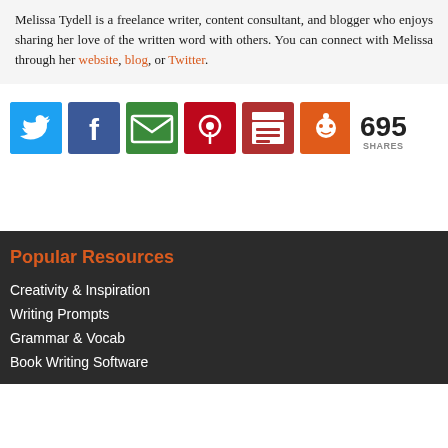Melissa Tydell is a freelance writer, content consultant, and blogger who enjoys sharing her love of the written word with others. You can connect with Melissa through her website, blog, or Twitter.
[Figure (infographic): Social share buttons: Twitter (blue), Facebook (dark blue), Email (green), Pinterest (dark red), Print (red), Reddit (orange) with share count of 695]
Popular Resources
Creativity & Inspiration
Writing Prompts
Grammar & Vocab
Book Writing Software